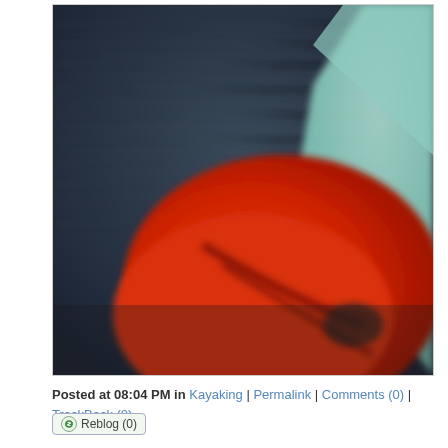[Figure (photo): A blurry close-up photo showing a red object (possibly a kayak paddle or gear) against a light teal/mint colored kayak hull, with dark choppy water in the background.]
Posted at 08:04 PM in Kayaking | Permalink | Comments (0) | TrackBack (0)
Reblog (0)